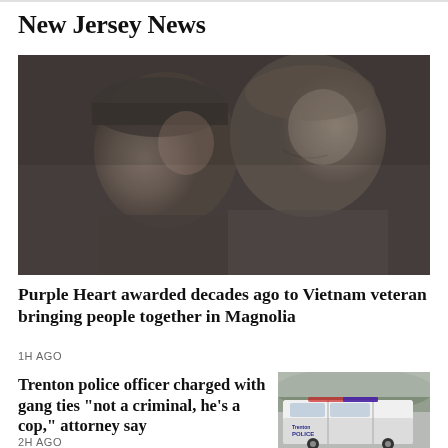New Jersey News
[Figure (photo): Black and white vintage photo of two soldiers or young men smiling, in military-style clothing]
Purple Heart awarded decades ago to Vietnam veteran bringing people together in Magnolia
1H AGO
Trenton police officer charged with gang ties "not a criminal, he's a cop," attorney say
[Figure (photo): Photo of a Trenton Police vehicle with 'Trenton POLICE' text visible on the side, parked outdoors]
2H AGO